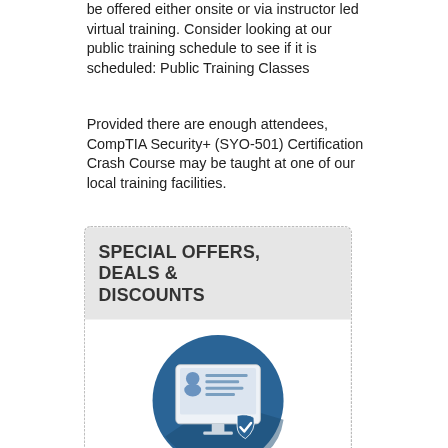be offered either onsite or via instructor led virtual training. Consider looking at our public training schedule to see if it is scheduled: Public Training Classes
Provided there are enough attendees, CompTIA Security+ (SYO-501) Certification Crash Course may be taught at one of our local training facilities.
SPECIAL OFFERS, DEALS & DISCOUNTS
[Figure (illustration): A circular blue icon showing a person on a computer screen with a checklist/shield badge, representing online certification or training.]